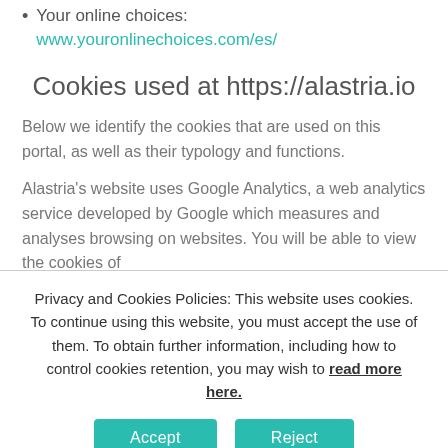Your online choices: www.youronlinechoices.com/es/
Cookies used at https://alastria.io
Below we identify the cookies that are used on this portal, as well as their typology and functions.
Alastria's website uses Google Analytics, a web analytics service developed by Google which measures and analyses browsing on websites. You will be able to view the cookies of
Privacy and Cookies Policies: This website uses cookies. To continue using this website, you must accept the use of them. To obtain further information, including how to control cookies retention, you may wish to read more here.